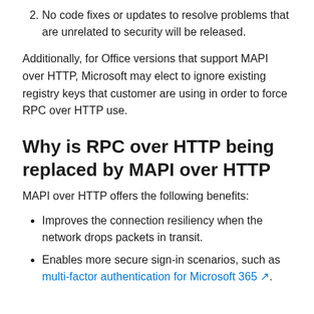No code fixes or updates to resolve problems that are unrelated to security will be released.
Additionally, for Office versions that support MAPI over HTTP, Microsoft may elect to ignore existing registry keys that customer are using in order to force RPC over HTTP use.
Why is RPC over HTTP being replaced by MAPI over HTTP
MAPI over HTTP offers the following benefits:
Improves the connection resiliency when the network drops packets in transit.
Enables more secure sign-in scenarios, such as multi-factor authentication for Microsoft 365.